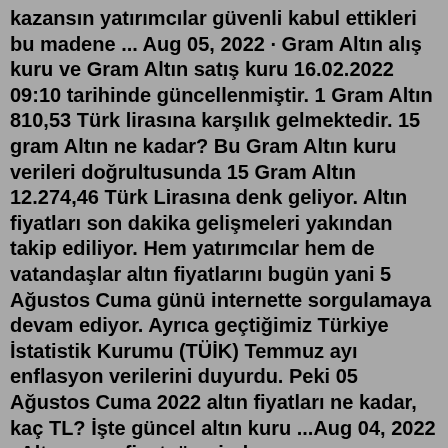kazansın yatırımcılar güvenli kabul ettikleri bu madene ... Aug 05, 2022 · Gram Altın alış kuru ve Gram Altın satış kuru 16.02.2022 09:10 tarihinde güncellenmiştir. 1 Gram Altın 810,53 Türk lirasına karşılık gelmektedir. 15 gram Altın ne kadar? Bu Gram Altın kuru verileri doğrultusunda 15 Gram Altın 12.274,46 Türk Lirasına denk geliyor. Altın fiyatları son dakika gelişmeleri yakından takip ediliyor. Hem yatırımcılar hem de vatandaşlar altın fiyatlarını bugün yani 5 Ağustos Cuma günü internette sorgulamaya devam ediyor. Ayrıca geçtiğimiz Türkiye İstatistik Kurumu (TÜİK) Temmuz ayı enflasyon verilerini duyurdu. Peki 05 Ağustos Cuma 2022 altın fiyatları ne kadar, kaç TL? İşte güncel altın kuru ...Aug 04, 2022 · Altın gram fiyatı üzerinden düşünüldüğünde en pahalı madenler arasında bulunuyor. Altından daha pahalı olan madenler de vardır. Bunlar platin grubu denilen metallerdir ve gram fiyatları yaklaşık olarak altının iki katı kadardır. Altın ne kadar değer kazanırsa kazansın yatırımcılar güvenli kabul ettikleri bu madene ...